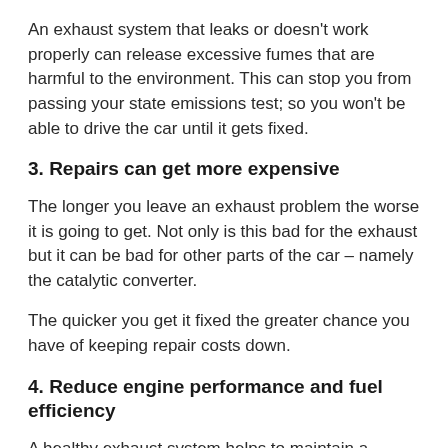An exhaust system that leaks or doesn't work properly can release excessive fumes that are harmful to the environment. This can stop you from passing your state emissions test; so you won't be able to drive the car until it gets fixed.
3. Repairs can get more expensive
The longer you leave an exhaust problem the worse it is going to get. Not only is this bad for the exhaust but it can be bad for other parts of the car – namely the catalytic converter.
The quicker you get it fixed the greater chance you have of keeping repair costs down.
4. Reduce engine performance and fuel efficiency
A healthy exhaust system helps to maintain a healthy engine. Leaks in your exhaust can cause the engine to